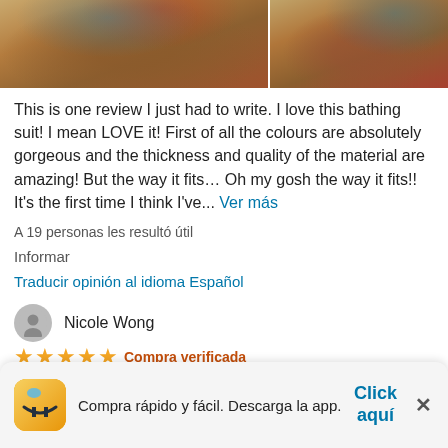[Figure (photo): Two photos of a colorful patterned bathing suit top with red/orange accents on a person]
This is one review I just had to write. I love this bathing suit! I mean LOVE it! First of all the colours are absolutely gorgeous and the thickness and quality of the material are amazing! But the way it fits… Oh my gosh the way it fits!! It's the first time I think I've... Ver más
A 19 personas les resultó útil
Informar
Traducir opinión al idioma Español
Nicole Wong
★★★★★ Compra verificada
Compra rápido y fácil. Descarga la app.   Click aquí  ×